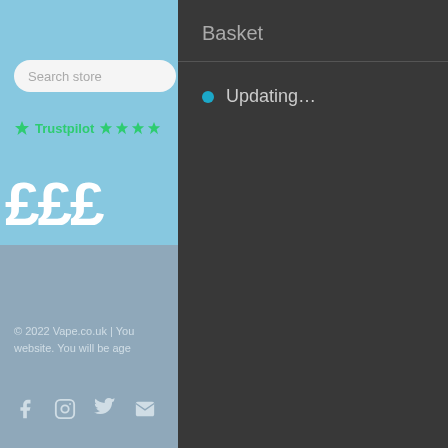[Figure (screenshot): Left panel showing a vape store website with a search bar, Trustpilot rating stars, large price text (£££), and a grey footer area with copyright text and social media icons]
Basket
Updating...
© 2022 Vape.co.uk | You website. You will be age
Social icons: Facebook, Instagram, Twitter, Email